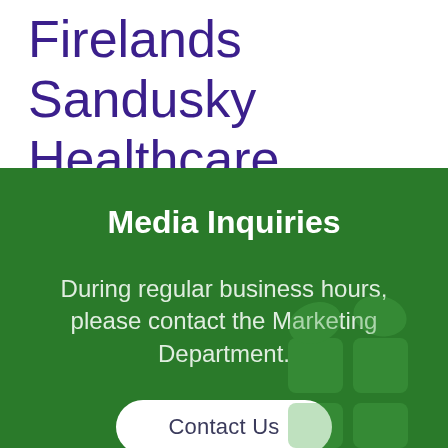Firelands Sandusky Healthcare Center
Media Inquiries
During regular business hours, please contact the Marketing Department.
Contact Us